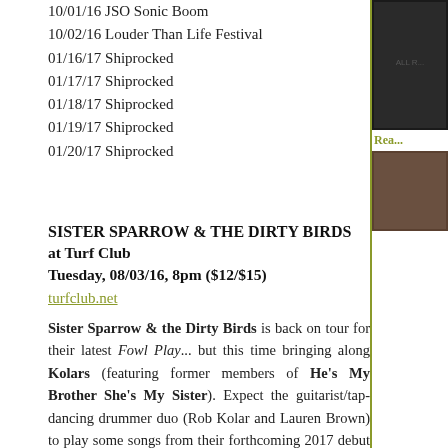10/01/16 JSO Sonic Boom
10/02/16 Louder Than Life Festival
01/16/17 Shiprocked
01/17/17 Shiprocked
01/18/17 Shiprocked
01/19/17 Shiprocked
01/20/17 Shiprocked
SISTER SPARROW & THE DIRTY BIRDS
at Turf Club
Tuesday, 08/03/16, 8pm ($12/$15)
turfclub.net
Sister Sparrow & the Dirty Birds is back on tour for their latest Fowl Play... but this time bringing along Kolars (featuring former members of He's My Brother She's My Sister). Expect the guitarist/tap-dancing drummer duo (Rob Kolar and Lauren Brown) to play some songs from their forthcoming 2017 debut self-titled album.
Guitarist Kolar talked leaving his former band, "HMBSMS really showed us how much people want to dance to live music... And it doesn't need to be electronic. That band started out as a folk band and evolved much in part because of the audience's desire to hear us play hip-shaking tunes. That's what got people excited. KOLARS is taking that seed into a more modern world of production and experimentation. As I do all the recording, producing, and mixing